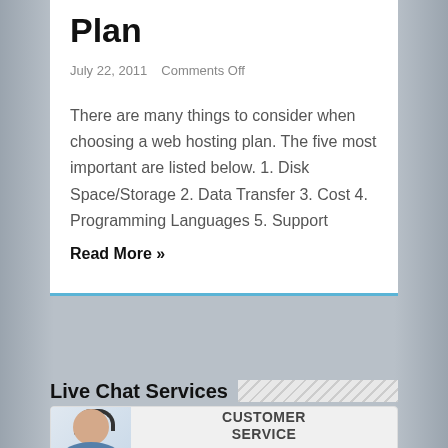Plan
July 22, 2011    Comments Off
There are many things to consider when choosing a web hosting plan. The five most important are listed below. 1. Disk Space/Storage 2. Data Transfer 3. Cost 4. Programming Languages 5. Support
Read More »
Live Chat Services
[Figure (illustration): Customer service representative with headset, showing CUSTOMER SERVICE text and a red CLICK HERE button]